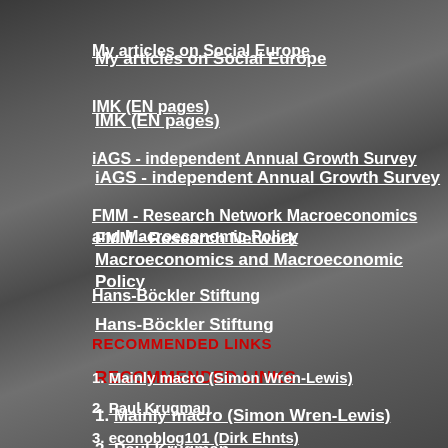My articles on Social Europe
IMK (EN pages)
iAGS - independent Annual Growth Survey
FMM - Research Network Macroeconomics and Macroeconomic Policy
Hans-Böckler Stiftung
RECOMMENDED LINKS
1. Mainly macro (Simon Wren-Lewis)
2. Paul Krugman
3. econoblog101 (Dirk Ehnts)